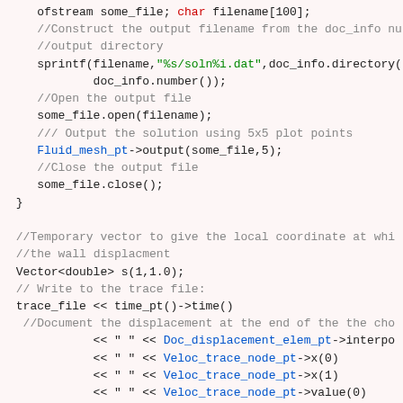Code snippet showing C++ file output and trace file writing with ofstream, sprintf, Fluid_mesh_pt->output, trace_file, Doc_displacement_elem_pt, Veloc_trace_node_pt methods